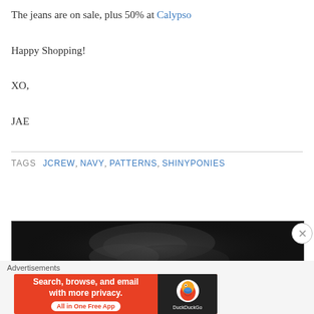The jeans are on sale, plus 50% at Calypso
Happy Shopping!
XO,
JAE
TAGS  JCREW, NAVY, PATTERNS, SHINYPONIES
[Figure (photo): Dark grayscale photograph, partially visible, showing what appears to be a blurred figure or animal against a dark background]
Advertisements
[Figure (screenshot): DuckDuckGo advertisement banner: 'Search, browse, and email with more privacy. All in One Free App' with DuckDuckGo duck logo on dark background]